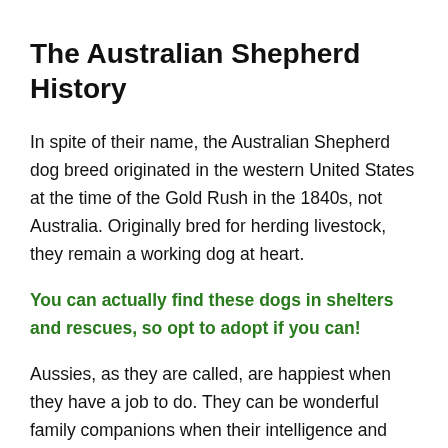The Australian Shepherd History
In spite of their name, the Australian Shepherd dog breed originated in the western United States at the time of the Gold Rush in the 1840s, not Australia. Originally bred for herding livestock, they remain a working dog at heart.
You can actually find these dogs in shelters and rescues, so opt to adopt if you can!
Aussies, as they are called, are happiest when they have a job to do. They can be wonderful family companions when their intelligence and energy are